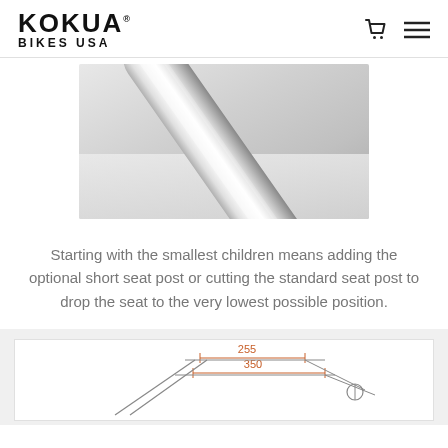KOKUA BIKES USA
[Figure (photo): Close-up photo of a shiny chrome/silver metal seat post tube against a white background]
Starting with the smallest children means adding the optional short seat post or cutting the standard seat post to drop the seat to the very lowest possible position.
[Figure (engineering-diagram): Technical diagram of a bike seat post with dimension annotations showing 255 and 350 measurements]